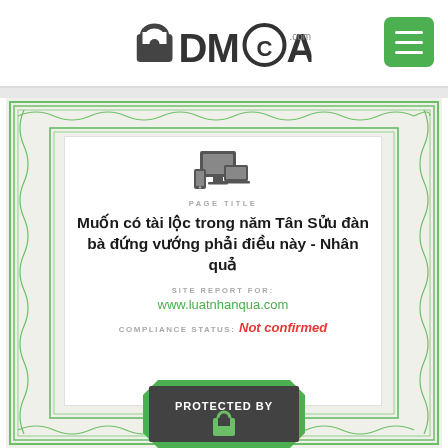[Figure (logo): DMCA.com logo with padlock icon]
[Figure (other): Green hamburger menu button]
[Figure (other): DMCA certificate with green guilloche border pattern]
PAGE TITLE
Muốn có tài lộc trong năm Tân Sửu đàn bà đứng vướng phải điều này - Nhân quả
SITE REPORT FOR:
www.luatnhanqua.com
COMPLIANCE STATUS: Not confirmed
[Figure (other): PROTECTED BY badge at bottom of certificate]